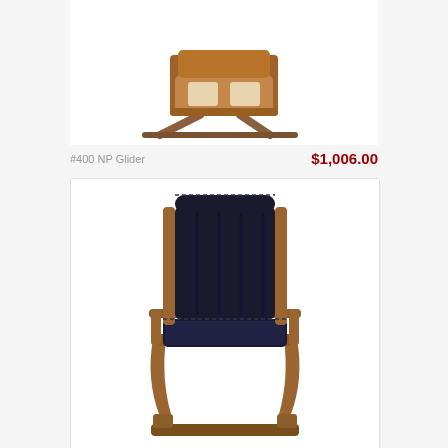[Figure (photo): Wooden glider chair without cushion, viewed from a three-quarter angle, showing the wooden frame and glider base mechanism.]
#400 NP Glider
$1,006.00
[Figure (photo): Wooden glider rocking chair with black leather upholstery on seat and back, high back design with armrests, glider base, viewed from a three-quarter angle.]